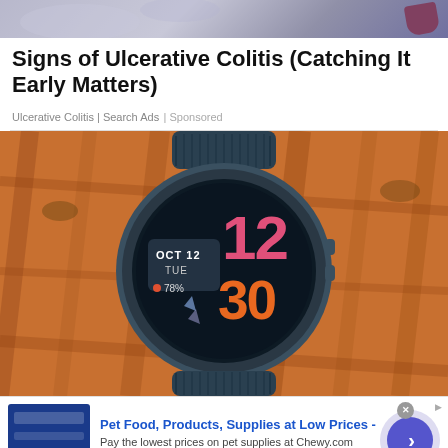[Figure (illustration): Top banner with purple/mauve gradient background and a dark maroon rounded shape on the right]
Signs of Ulcerative Colitis (Catching It Early Matters)
Ulcerative Colitis | Search Ads | Sponsored
[Figure (photo): Close-up photo of a smartwatch with dark blue/gray band, round face showing OCT 12 TUE, 78%, time 12:30, placed on orange-brown rustic wood surface]
[Figure (photo): Bottom advertisement for Chewy.com pet food with navy blue thumbnail image, bold blue title text, description text, green URL, and purple circular arrow button]